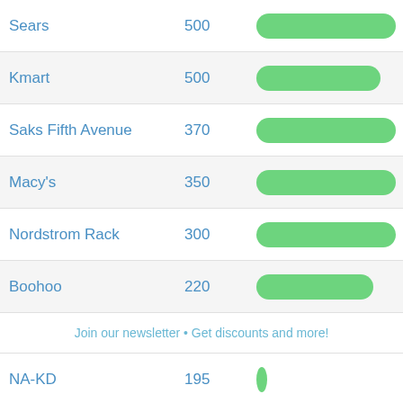[Figure (bar-chart): Retailer coupon counts]
Join our newsletter • Get discounts and more!